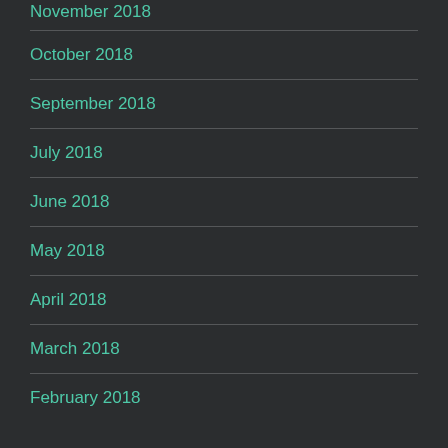November 2018
October 2018
September 2018
July 2018
June 2018
May 2018
April 2018
March 2018
February 2018